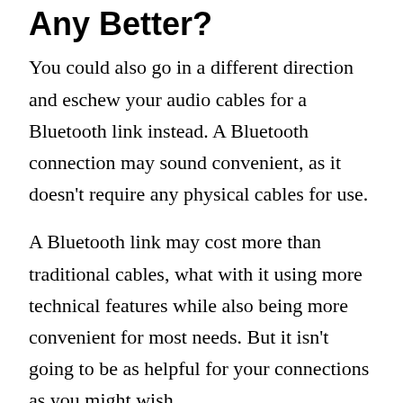Any Better?
You could also go in a different direction and eschew your audio cables for a Bluetooth link instead. A Bluetooth connection may sound convenient, as it doesn’t require any physical cables for use.
A Bluetooth link may cost more than traditional cables, what with it using more technical features while also being more convenient for most needs. But it isn’t going to be as helpful for your connections as you might wish.
A traditional connection will produce better audio quality than a Bluetooth link. The audio syncing process may be a hassle, as there will likely be a delay between the source item and the Bluetooth output